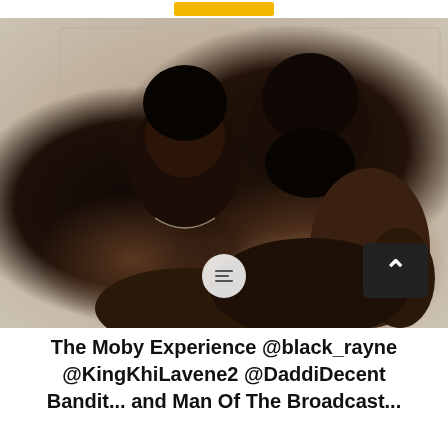[Figure (photo): Two shirtless men with beards posing together indoors. The man in front has long twisted/braided hair and a silver chain necklace. The taller man behind has a large full beard and visible tattoos on his arm and shoulder. Both face the camera directly.]
The Moby Experience @black_rayne @KingKhiLavene2 @DaddiDecent Bandit... and Man Of The Broadcast...